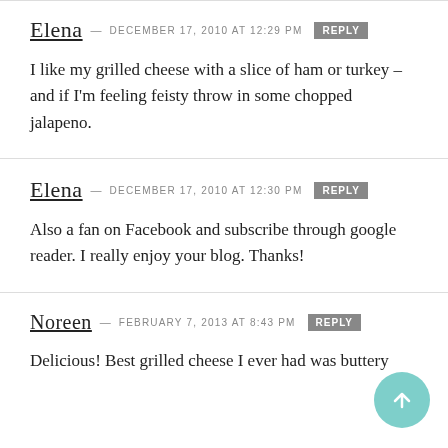Elena — DECEMBER 17, 2010 at 12:29 PM [REPLY]
I like my grilled cheese with a slice of ham or turkey – and if I'm feeling feisty throw in some chopped jalapeno.
Elena — DECEMBER 17, 2010 at 12:30 PM [REPLY]
Also a fan on Facebook and subscribe through google reader. I really enjoy your blog. Thanks!
Noreen — FEBRUARY 7, 2013 at 8:43 PM [REPLY]
Delicious! Best grilled cheese I ever had was buttery